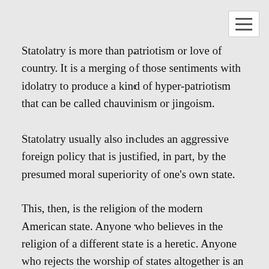Statolatry is more than patriotism or love of country. It is a merging of those sentiments with idolatry to produce a kind of hyper-patriotism that can be called chauvinism or jingoism.
Statolatry usually also includes an aggressive foreign policy that is justified, in part, by the presumed moral superiority of one's own state.
This, then, is the religion of the modern American state. Anyone who believes in the religion of a different state is a heretic. Anyone who rejects the worship of states altogether is an infidel.
Frank Chodorov: Spy hunts as heresy trials